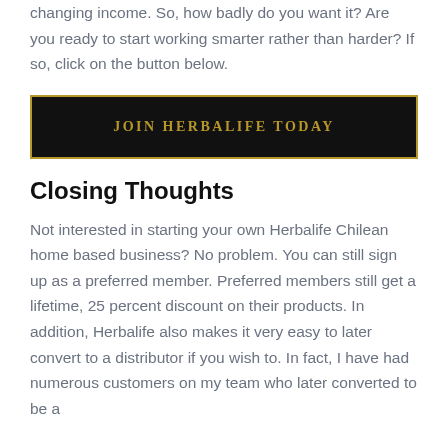changing income. So, how badly do you want it? Are you ready to start working smarter rather than harder? If so, click on the button below.
[Figure (other): Black button with gold border reading JOIN HERBALIFE TODAY]
Closing Thoughts
Not interested in starting your own Herbalife Chilean home based business? No problem. You can still sign up as a preferred member. Preferred members still get a lifetime, 25 percent discount on their products. In addition, Herbalife also makes it very easy to later convert to a distributor if you wish to. In fact, I have had numerous customers on my team who later converted to be a